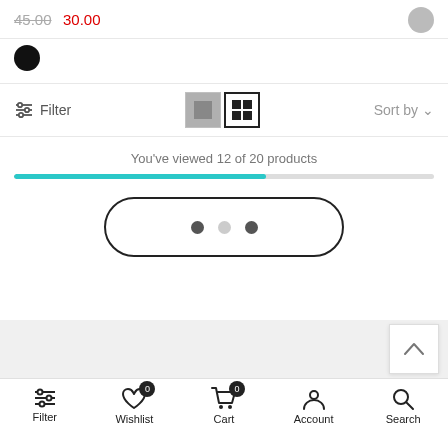45.00  30.00
[Figure (screenshot): Color swatch circle (black)]
[Figure (screenshot): Toolbar with Filter button, single/grid view toggle icons, and Sort by dropdown]
You've viewed 12 of 20 products
[Figure (infographic): Progress bar showing 60% filled in teal/cyan color]
[Figure (infographic): Load more button (pill/capsule shape with three dots)]
[Figure (screenshot): Back to top chevron button]
[Figure (screenshot): Bottom navigation bar with Filter, Wishlist (0), Cart (0), Account, Search icons]